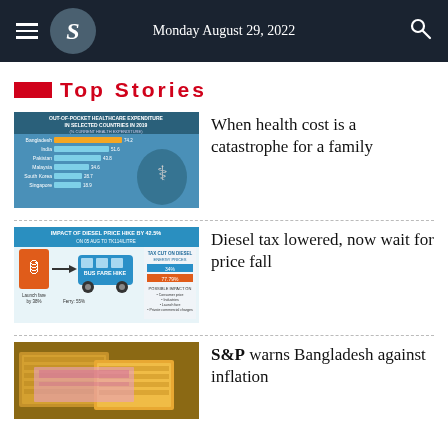Monday August 29, 2022
Top Stories
[Figure (infographic): Out-of-pocket healthcare expenditure in selected countries in 2019 (% current health expenditure) – horizontal bar chart with countries including Bangladesh, India, Pakistan, Malaysia, South Korea, Singapore, United Kingdom, Denmark, Japan; with stethoscope and coins imagery]
When health cost is a catastrophe for a family
[Figure (infographic): Impact of diesel price hike by 42.5% on 05 Aug to Tk114/litre – infographic showing bus fare hike, tax cut on diesel energy prices, regulatory duty cut on bike]
Diesel tax lowered, now wait for price fall
[Figure (photo): Stacks of Bangladeshi currency banknotes]
S&P warns Bangladesh against inflation